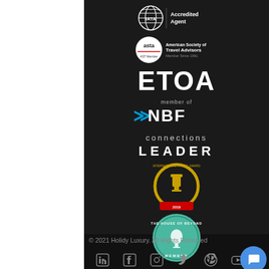[Figure (logo): IATA Accredited Agent logo with globe icon and text]
[Figure (logo): ASTA American Society of Travel Advisors logo]
[Figure (logo): ETOA text logo in white bold letters]
[Figure (logo): NBF member of logo with blue arrows]
[Figure (logo): connections LEADER logo]
[Figure (logo): International Travel Award member badge - circular gold badge with trophy]
[Figure (logo): The House of Beyond Member circular teal badge]
© 2021 Holidy Luxury. All Rights Reserved
[Figure (infographic): Social media icons row: LinkedIn, Facebook, Instagram, Twitter, Pinterest, YouTube]